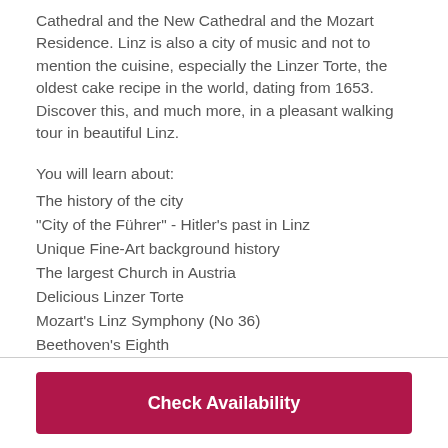Cathedral and the New Cathedral and the Mozart Residence. Linz is also a city of music and not to mention the cuisine, especially the Linzer Torte, the oldest cake recipe in the world, dating from 1653. Discover this, and much more, in a pleasant walking tour in beautiful Linz.
You will learn about:
The history of the city
"City of the Führer" - Hitler's past in Linz
Unique Fine-Art background history
The largest Church in Austria
Delicious Linzer Torte
Mozart's Linz Symphony (No 36)
Beethoven's Eighth
Check Availability